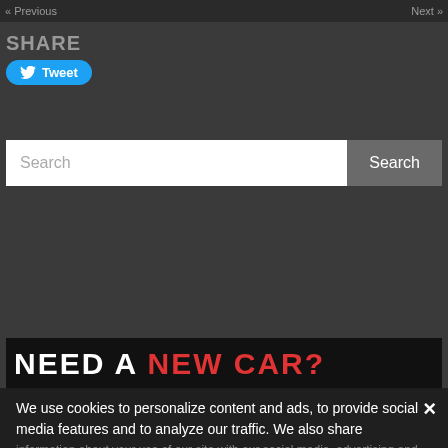« Previous    Next »
SHARE
[Figure (screenshot): Tweet button with Twitter bird icon]
[Figure (screenshot): Search bar with text input and Search button]
[Figure (screenshot): NEED A NEW CAR? advertisement banner, white and red text on dark background]
We use cookies to personalize content and ads, to provide social media features and to analyze our traffic. We also share information about your use of our site with our social media, advertising and analytics partners who may combine it with other information that you've provided to them or that they've collected from your use of their services.
[Figure (infographic): Euler Group Military Sales advertisement popup showing BMW car, address: EULER GROUP MILITARY SALES, KUSELER STR. 20, BAUMHOLDER, with BMW and MINI dealer badge and Euler Group logo]